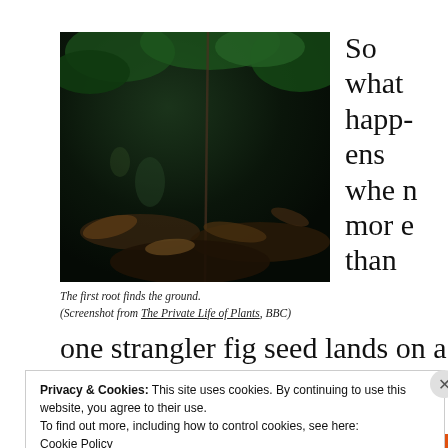[Figure (photo): Dark forest floor photograph showing roots, leaves and undergrowth in low light. Screenshot from The Private Life of Plants, BBC.]
The first root finds the ground.
(Screenshot from The Private Life of Plants, BBC)
So what happens when more than one strangler fig seed lands on a particular
Privacy & Cookies: This site uses cookies. By continuing to use this website, you agree to their use.
To find out more, including how to control cookies, see here:
Cookie Policy
Close and accept